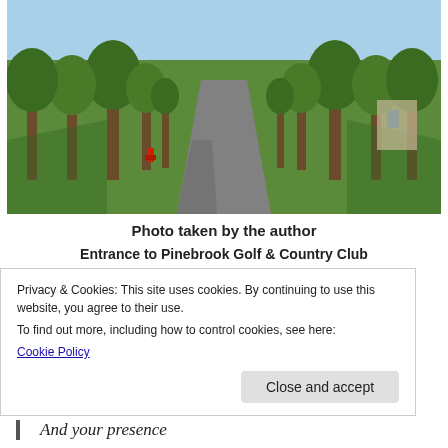[Figure (photo): A tree-lined road or driveway leading into Pinebrook Golf & Country Club, photographed in summer. Tall trees line both sides of a paved road receding into the distance. Grass and blue sky visible.]
Photo taken by the author
Entrance to Pinebrook Golf & Country Club
Privacy & Cookies: This site uses cookies. By continuing to use this website, you agree to their use.
To find out more, including how to control cookies, see here:
Cookie Policy
Close and accept
And your presence